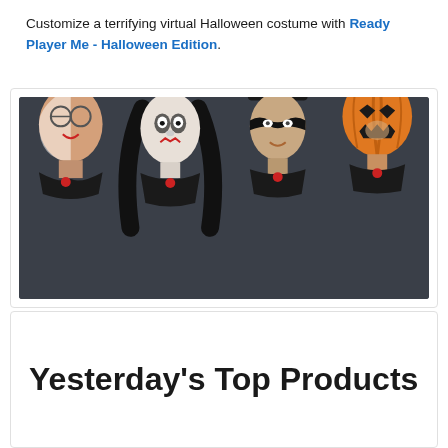Customize a terrifying virtual Halloween costume with Ready Player Me - Halloween Edition.
[Figure (illustration): Four 3D-rendered Halloween avatar heads on a dark gray background: a jester/Harley Quinn with red-and-black hat, a witch with black pointy hat and long black hair, a bandit/Zorro with black top hat and eye mask, and a pumpkin-head avatar.]
Yesterday's Top Products